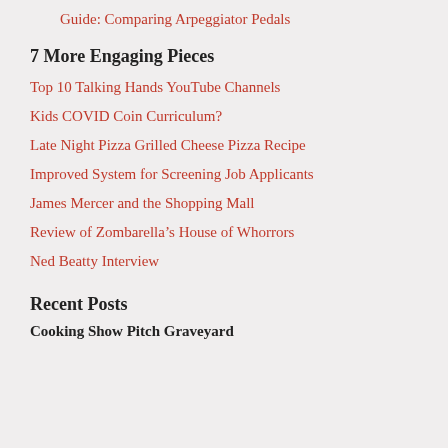Guide: Comparing Arpeggiator Pedals
7 More Engaging Pieces
Top 10 Talking Hands YouTube Channels
Kids COVID Coin Curriculum?
Late Night Pizza Grilled Cheese Pizza Recipe
Improved System for Screening Job Applicants
James Mercer and the Shopping Mall
Review of Zombarella’s House of Whorrors
Ned Beatty Interview
Recent Posts
Cooking Show Pitch Graveyard